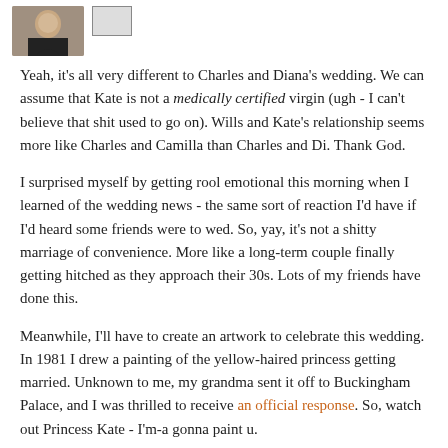[Figure (photo): Small avatar photo of a person in dark clothing, with a small framed picture/icon to the right]
Yeah, it's all very different to Charles and Diana's wedding. We can assume that Kate is not a medically certified virgin (ugh - I can't believe that shit used to go on). Wills and Kate's relationship seems more like Charles and Camilla than Charles and Di. Thank God.
I surprised myself by getting rool emotional this morning when I learned of the wedding news - the same sort of reaction I'd have if I'd heard some friends were to wed. So, yay, it's not a shitty marriage of convenience. More like a long-term couple finally getting hitched as they approach their 30s. Lots of my friends have done this.
Meanwhile, I'll have to create an artwork to celebrate this wedding. In 1981 I drew a painting of the yellow-haired princess getting married. Unknown to me, my grandma sent it off to Buckingham Palace, and I was thrilled to receive an official response. So, watch out Princess Kate - I'm-a gonna paint u.